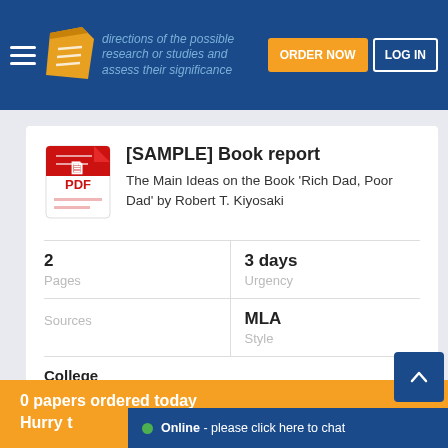directions of the possible research or studies and assess their significance | ORDER NOW | LOG IN
[SAMPLE] Book report
The Main Ideas on the Book 'Rich Dad, Poor Dad' by Robert T. Kiyosaki
|  |  |
| --- | --- |
| 2
Pages | 3 days
Urgency |
| Sources | MLA
Style |
| College
Level |  |
0 papers ordered today
Hurry to order
Online - please click here to chat